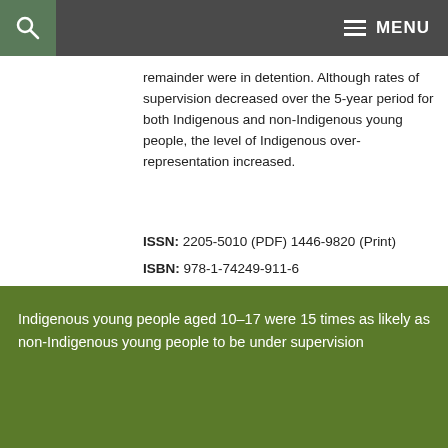MENU
remainder were in detention. Although rates of supervision decreased over the 5-year period for both Indigenous and non-Indigenous young people, the level of Indigenous over-representation increased.
ISSN: 2205-5010 (PDF) 1446-9820 (Print)
ISBN: 978-1-74249-911-6
Cat. no: AUS 198
Pages: 24
Indigenous young people aged 10–17 were 15 times as likely as non-Indigenous young people to be under supervision